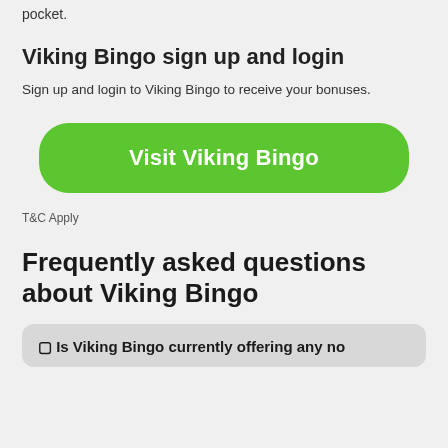pocket.
Viking Bingo sign up and login
Sign up and login to Viking Bingo to receive your bonuses.
[Figure (other): Green rounded button with white bold text reading 'Visit Viking Bingo']
T&C Apply
Frequently asked questions about Viking Bingo
⬜ Is Viking Bingo currently offering any no